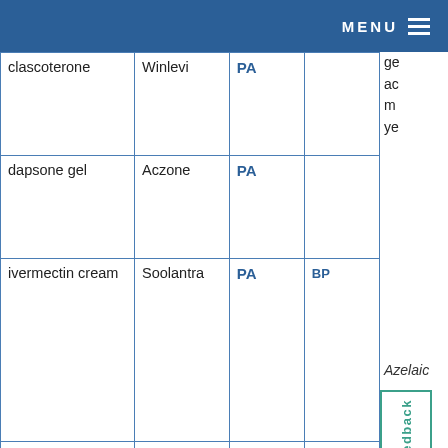MENU
| Drug | Brand | Coverage | Other |
| --- | --- | --- | --- |
| clascoterone | Winlevi | PA |  |
| dapsone gel | Aczone | PA |  |
| ivermectin cream | Soolantra | PA | BP |
| oxymetazoline cream | Rhofade | PA |  |
ge ac m ye
Azelaic
pr